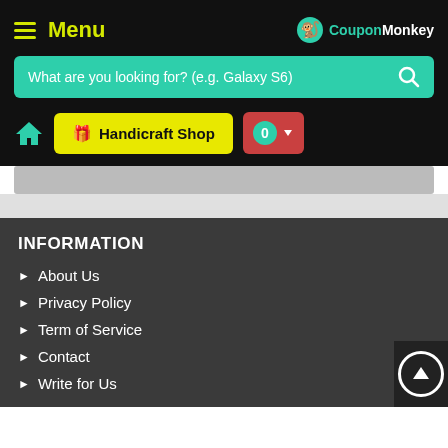Menu | CouponMonkey
[Figure (screenshot): Search bar with teal background and placeholder text: What are you looking for? (e.g. Galaxy S6)]
[Figure (screenshot): Navigation row with home icon, Handicraft Shop yellow button, and cart button showing 0]
INFORMATION
About Us
Privacy Policy
Term of Service
Contact
Write for Us